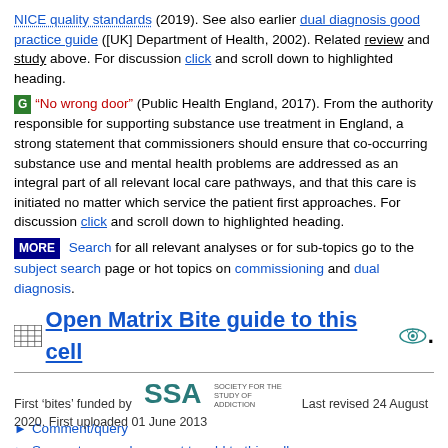NICE quality standards (2019). See also earlier dual diagnosis good practice guide ([UK] Department of Health, 2002). Related review and study above. For discussion click and scroll down to highlighted heading.
"No wrong door" (Public Health England, 2017). From the authority responsible for supporting substance use treatment in England, a strong statement that commissioners should ensure that co-occurring substance use and mental health problems are addressed as an integral part of all relevant local care pathways, and that this care is initiated no matter which service the patient first approaches. For discussion click and scroll down to highlighted heading.
MORE Search for all relevant analyses or for sub-topics go to the subject search page or hot topics on commissioning and dual diagnosis.
Open Matrix Bite guide to this cell.
First 'bites' funded by SSA. Last revised 24 August 2020. First uploaded 01 June 2013
Comment/query
Suggest a new document to add to this cell
Return to/go to Drugs Matrix
Open Effectiveness Bank home page